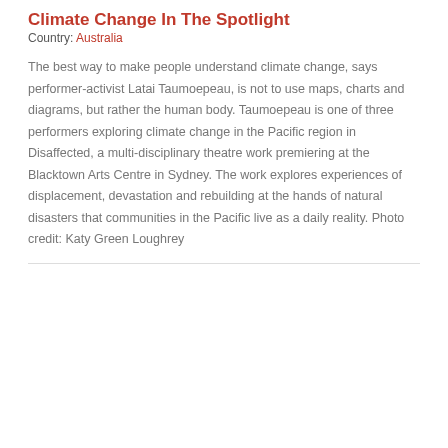Climate Change In The Spotlight
Country: Australia
The best way to make people understand climate change, says performer-activist Latai Taumoepeau, is not to use maps, charts and diagrams, but rather the human body. Taumoepeau is one of three performers exploring climate change in the Pacific region in Disaffected, a multi-disciplinary theatre work premiering at the Blacktown Arts Centre in Sydney. The work explores experiences of displacement, devastation and rebuilding at the hands of natural disasters that communities in the Pacific live as a daily reality. Photo credit: Katy Green Loughrey